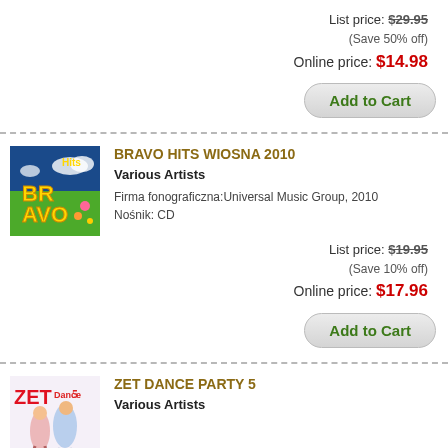List price: $29.95
(Save 50% off)
Online price: $14.98
Add to Cart
[Figure (photo): Album cover for Bravo Hits Wiosna 2010 showing colorful spring themed artwork with BRAVO logo]
BRAVO HITS WIOSNA 2010
Various Artists
Firma fonograficzna:Universal Music Group, 2010
Nośnik: CD
List price: $19.95
(Save 10% off)
Online price: $17.96
Add to Cart
[Figure (photo): Album cover for Zet Dance Party 5 with dancers and ZET Dance 5 logo]
ZET DANCE PARTY 5
Various Artists